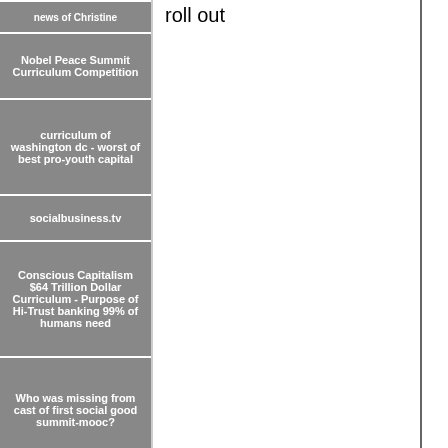news of Christine
Nobel Peace Summit Curriculum Competition
curriculum of washington dc - worst of best pro-youth capital
socialbusiness.tv
Conscious Capitalism $64 Trillion Dollar Curriculum - Purpose of Hi-Trust banking 99% of humans need
Who was missing from cast of first social good summit-mooc?
9 minute mooc - youth futures depend on whether ceos sustain or destroy value chains
roll out